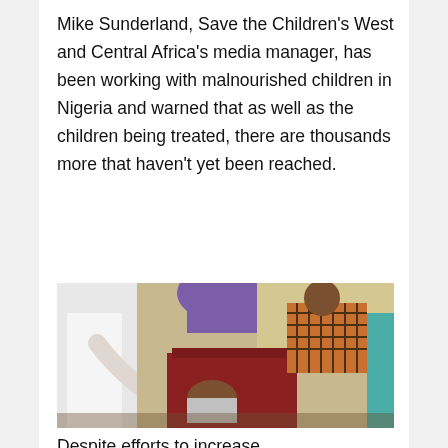Mike Sunderland, Save the Children's West and Central Africa's media manager, has been working with malnourished children in Nigeria and warned that as well as the children being treated, there are thousands more that haven't yet been reached.
[Figure (photo): A healthcare worker in white clothing leans over to examine or treat a small child held by a woman wearing a patterned headscarf and red clothing, in a crowded room with other women in colourful clothing visible in the background.]
Despite efforts to increase